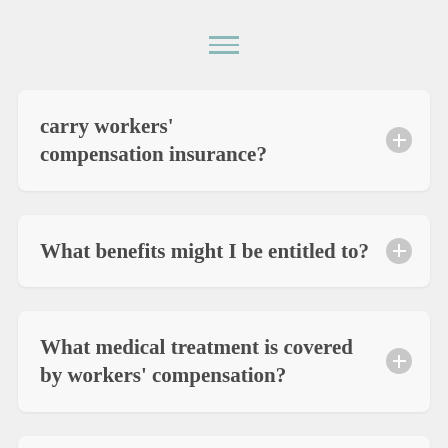carry workers' compensation insurance?
What benefits might I be entitled to?
What medical treatment is covered by workers' compensation?
Can I treat with my own